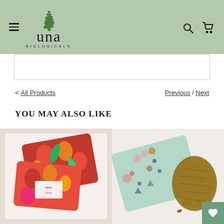Una Biologicals - navigation header with logo, hamburger menu, search and cart icons
< All Products
Previous / Next
YOU MAY ALSO LIKE
[Figure (photo): Floral red and orange fabric heating pad / therapy pack with cherry branding label]
[Figure (photo): Mint green floral patterned fabric heating pad with flax seeds spilling out]